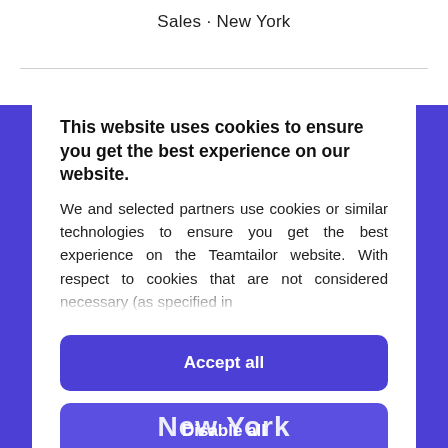Sales · New York
This website uses cookies to ensure you get the best experience on our website.
We and selected partners use cookies or similar technologies to ensure you get the best experience on the Teamtailor website. With respect to cookies that are not considered necessary (as specified in
Accept all
Disable all
Cookie preferences